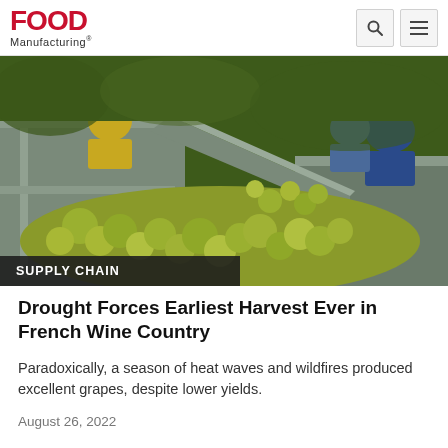FOOD Manufacturing
[Figure (photo): Grapes being poured into a large metal harvest bin/container, with workers visible in the background wearing yellow and blue clothing. Green/yellow wine grapes fill the metallic hopper.]
SUPPLY CHAIN
Drought Forces Earliest Harvest Ever in French Wine Country
Paradoxically, a season of heat waves and wildfires produced excellent grapes, despite lower yields.
August 26, 2022